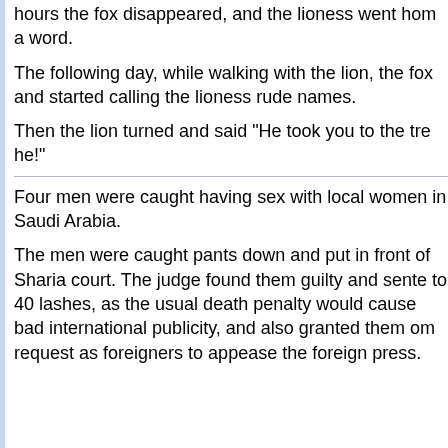hours the fox disappeared, and the lioness went hom a word.
The following day, while walking with the lion, the fox and started calling the lioness rude names.
Then the lion turned and said "He took you to the tre he!"
Four men were caught having sex with local women in Saudi Arabia.
The men were caught pants down and put in front of Sharia court. The judge found them guilty and sente to 40 lashes, as the usual death penalty would cause bad international publicity, and also granted them om request as foreigners to appease the foreign press.